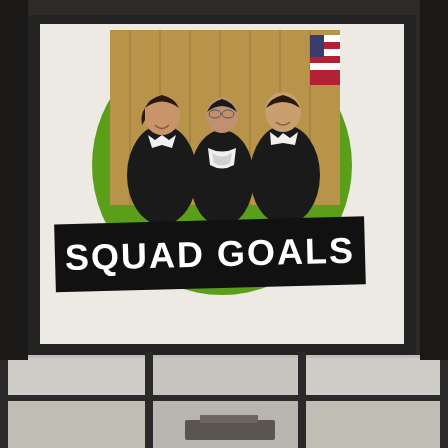[Figure (photo): Photograph taken in a conference room or lecture hall showing a projection screen displaying a slide. The slide features a green circle background with a photo of three female Supreme Court justices in black robes, overlaid with a black banner reading 'SQUAD GOALS' in large white bold text. Below the screen are window panels with a grid pattern showing a room interior.]